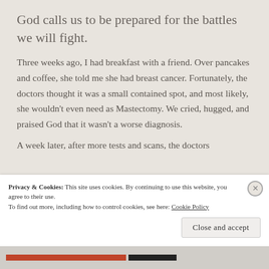God calls us to be prepared for the battles we will fight.
Three weeks ago, I had breakfast with a friend. Over pancakes and coffee, she told me she had breast cancer. Fortunately, the doctors thought it was a small contained spot, and most likely, she wouldn't even need as Mastectomy. We cried, hugged, and praised God that it wasn't a worse diagnosis.
A week later, after more tests and scans, the doctors
Privacy & Cookies: This site uses cookies. By continuing to use this website, you agree to their use.
To find out more, including how to control cookies, see here: Cookie Policy
Close and accept